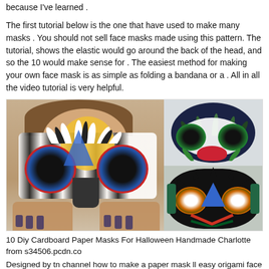because I've learned .
The first tutorial below is the one that have used to make many masks . You should not sell face masks made using this pattern. The tutorial, shows the elastic would go around the back of the head, and so the 10 would make sense for . The easiest method for making your own face mask is as simple as folding a bandana or a . All in all the video tutorial is very helpful.
[Figure (photo): A woman holding up a colorful paper/cardboard face mask with feathers, stripes, and circular eye pieces, alongside two additional ornate paper masks displayed on the right side.]
10 Diy Cardboard Paper Masks For Halloween Handmade Charlotte from s34506.pcdn.co
Designed by tn channel how to make a paper mask ll easy origami face